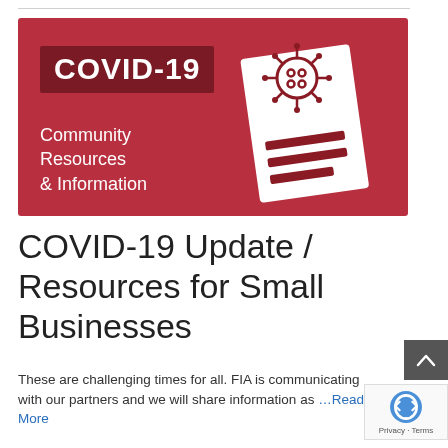[Figure (infographic): COVID-19 Community Resources & Information banner image: dark red background with 'COVID-19' text in a darker red box on the left, 'Community Resources & Information' subtitle below it in white, and a stylized white document with a coronavirus icon on the right side.]
COVID-19 Update / Resources for Small Businesses
These are challenging times for all. FIA is communicating with our partners and we will share information as …Read More